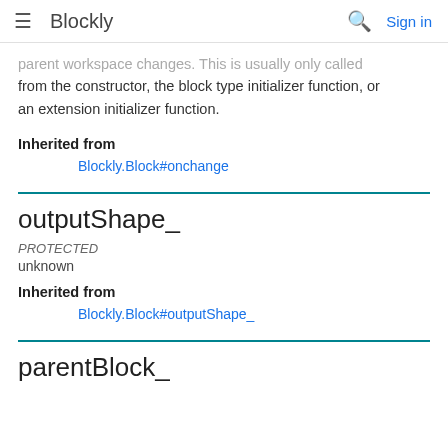Blockly | Sign in
parent workspace changes. This is usually only called from the constructor, the block type initializer function, or an extension initializer function.
Inherited from
Blockly.Block#onchange
outputShape_
PROTECTED
unknown
Inherited from
Blockly.Block#outputShape_
parentBlock_